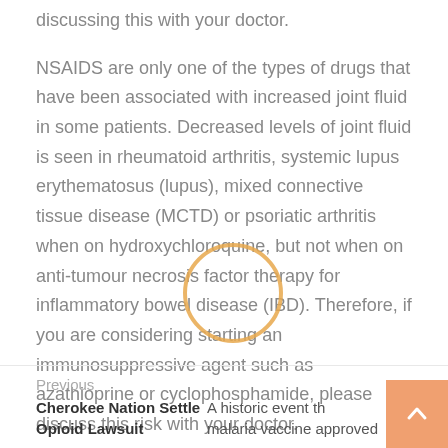discussing this with your doctor.

NSAIDS are only one of the types of drugs that have been associated with increased joint fluid in some patients. Decreased levels of joint fluid is seen in rheumatoid arthritis, systemic lupus erythematosus (lupus), mixed connective tissue disease (MCTD) or psoriatic arthritis when on hydroxychloroquine, but not when on anti-tumour necrosis factor therapy for inflammatory bowel disease (IBD). Therefore, if you are considering starting an immunosuppressive agent such as azathioprine or cyclophosphamide, please discuss this risk with your doctor.
Previous
Cherokee Nation Settle Opioid Lawsuit
A historic event th malaria vaccine approved